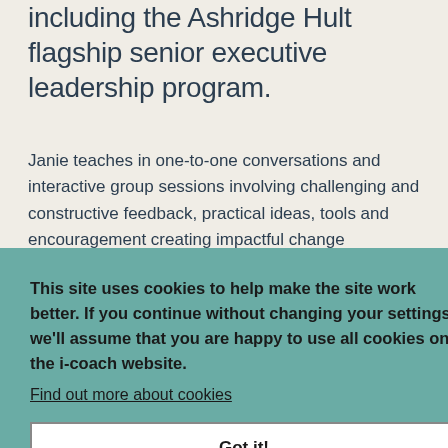including the Ashridge Hult flagship senior executive leadership program.
Janie teaches in one-to-one conversations and interactive group sessions involving challenging and constructive feedback, practical ideas, tools and encouragement creating impactful change
and shaping inclusive, listening organisational cultures. She delivers coaching for specific clients, working with them to build a profile prior to delivering a key-note presentation or message during a conference and a coaching-based interview preparation for senior leaders presenting at board level. Janie also offers interventions where a specific gap in leadership skill is needed, such as empathy, presentation style, influencing, and listening.
This site uses cookies to help make the site work better. If you continue without changing your settings we'll assume that you are happy to use all cookies on the i-coach website. Find out more about cookies Got it!